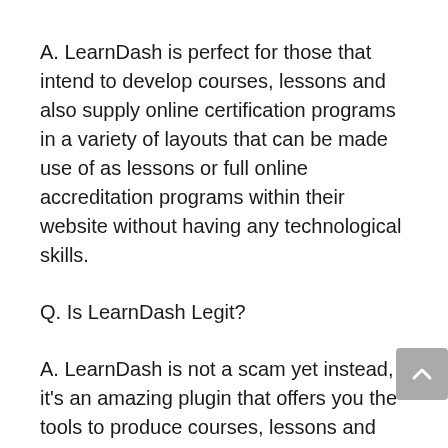A. LearnDash is perfect for those that intend to develop courses, lessons and also supply online certification programs in a variety of layouts that can be made use of as lessons or full online accreditation programs within their website without having any technological skills.
Q. Is LearnDash Legit?
A. LearnDash is not a scam yet instead, it’s an amazing plugin that offers you the tools to produce courses, lessons and also offer online qualification programs in a selection of styles without having any kind